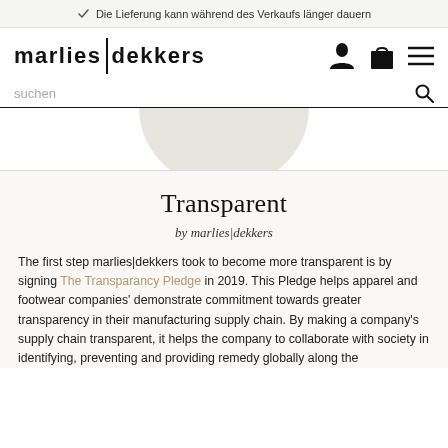Die Lieferung kann während des Verkaufs länger dauern
[Figure (logo): marlies|dekkers brand logo with vertical divider bar]
suchen
[Figure (illustration): Partial circular/profile image area at top of page content]
Transparent
by marlies|dekkers
The first step marlies|dekkers took to become more transparent is by signing The Transparancy Pledge in 2019. This Pledge helps apparel and footwear companies' demonstrate commitment towards greater transparency in their manufacturing supply chain. By making a company's supply chain transparent, it helps the company to collaborate with society in identifying, preventing and providing remedy globally along the